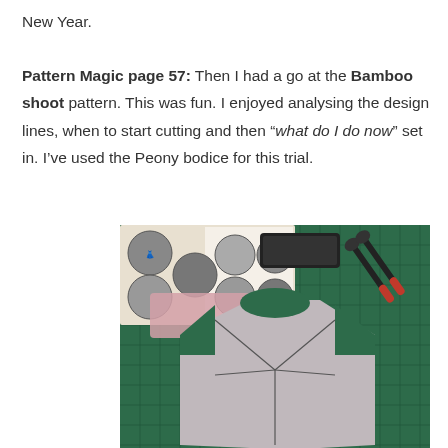New Year.

Pattern Magic page 57: Then I had a go at the Bamboo shoot pattern. This was fun. I enjoyed analysing the design lines, when to start cutting and then "what do I do now" set in. I've used the Peony bodice for this trial.
[Figure (photo): Photo of a grey bodice pattern piece laid out on a green cutting mat, with a pattern book open showing circular fashion illustrations, a box of pins, and scissors visible in the background.]